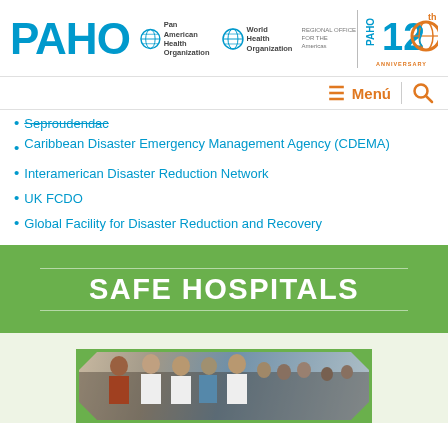PAHO - Pan American Health Organization / World Health Organization - PAHO 120th Anniversary
Seproudendac
Caribbean Disaster Emergency Management Agency (CDEMA)
Interamerican Disaster Reduction Network
UK FCDO
Global Facility for Disaster Reduction and Recovery
SAFE HOSPITALS
[Figure (photo): Group of people, some in white shirts, gathered around a table in what appears to be a health or disaster preparedness event, with green chevron/diamond frame overlay.]